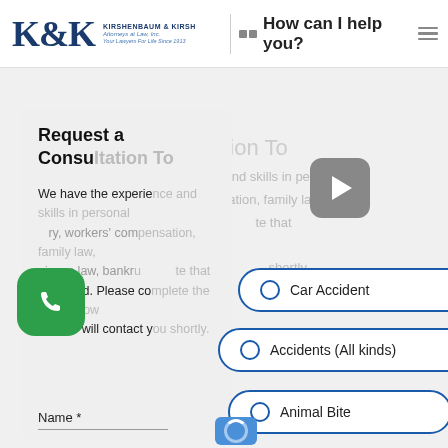K&K KIRSHENBAUM & KIRSH Attorneys at Law, Inc. | How can I help you?
Request a Consultation Today
We have the experience and skills in personal injury, workers' compensation, family law, business law, bankruptcy, and estate that you need. Please complete the form below and we will contact you shortly.
Name *
Car Accident
Accidents (All kinds)
Animal Bite